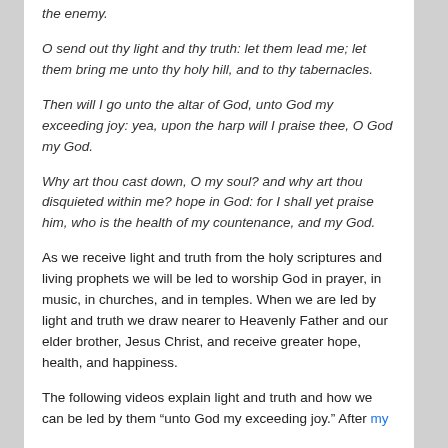the enemy.
O send out thy light and thy truth: let them lead me; let them bring me unto thy holy hill, and to thy tabernacles.
Then will I go unto the altar of God, unto God my exceeding joy: yea, upon the harp will I praise thee, O God my God.
Why art thou cast down, O my soul? and why art thou disquieted within me? hope in God: for I shall yet praise him, who is the health of my countenance, and my God.
As we receive light and truth from the holy scriptures and living prophets we will be led to worship God in prayer, in music, in churches, and in temples. When we are led by light and truth we draw nearer to Heavenly Father and our elder brother, Jesus Christ, and receive greater hope, health, and happiness.
The following videos explain light and truth and how we can be led by them “unto God my exceeding joy.” After my